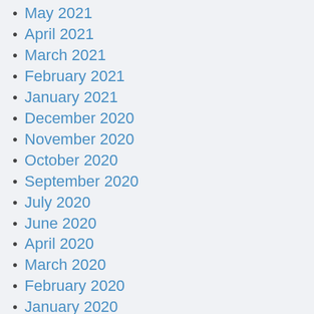May 2021
April 2021
March 2021
February 2021
January 2021
December 2020
November 2020
October 2020
September 2020
July 2020
June 2020
April 2020
March 2020
February 2020
January 2020
December 2019
October 2019
September 2019